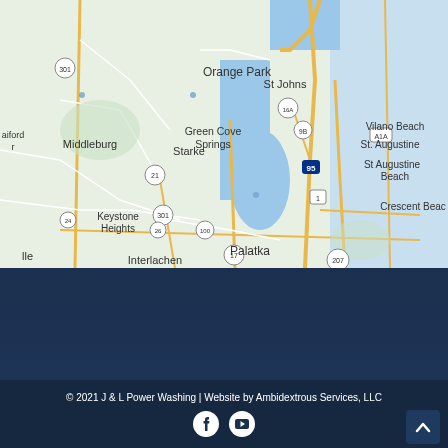[Figure (map): Google Maps screenshot showing northeastern Florida region including Orange Park, St Johns, Middleburg, Green Cove Springs, Starke, Keystone Heights, Palatka, Interlachen, St. Augustine, Vilano Beach, St Augustine Beach, Crescent Beach, and highway routes 295, 95, 301, 17, 21, 26, 100, 1A1, 16A, 207, 9B, 24]
© 2021 J & L Power Washing | Website by Ambidextrous Services, LLC